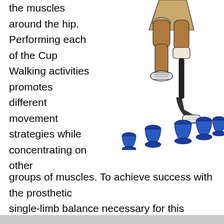the muscles around the hip. Performing each of the Cup Walking activities promotes different movement strategies while concentrating on other groups of muscles. To achieve success with the prosthetic single-limb balance necessary for this exercise, you must focus on the three key elements: muscle contractions within
[Figure (illustration): Illustration of a person with a prosthetic lower leg stepping over blue cup-shaped obstacles arranged in a line. The person is wearing tan shorts and a white shoe on the natural leg. The prosthetic foot is positioned on one of the blue cups.]